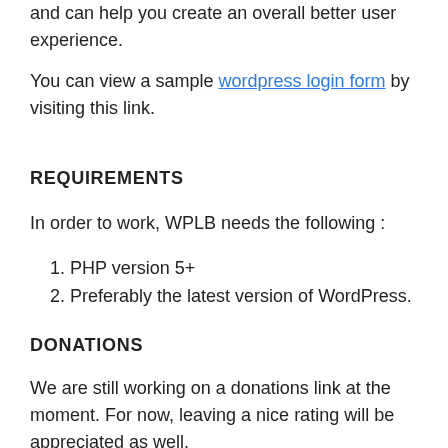This plugins works well with other member plugins, and can help you create an overall better user experience.
You can view a sample wordpress login form by visiting this link.
REQUIREMENTS
In order to work, WPLB needs the following :
1. PHP version 5+
2. Preferably the latest version of WordPress.
DONATIONS
We are still working on a donations link at the moment. For now, leaving a nice rating will be appreciated as well.